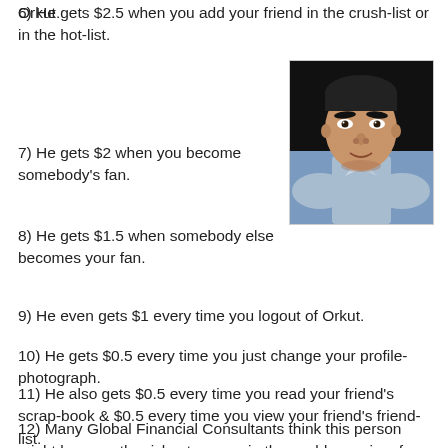Orkut.
6) He gets $2.5 when you add your friend in the crush-list or in the hot-list.
[Figure (photo): Portrait photo of a young man with dark hair wearing a light blue shirt, against a dark background.]
7) He gets $2 when you become somebody's fan.
8) He gets $1.5 when somebody else becomes your fan.
9) He even gets $1 every time you logout of Orkut.
10) He gets $0.5 every time you just change your profile-photograph.
11) He also gets $0.5 every time you read your friend's scrap-book & $0.5 every time you view your friend's friend-list.
12) Many Global Financial Consultants think this person might become the richest-person in the world soon in a few